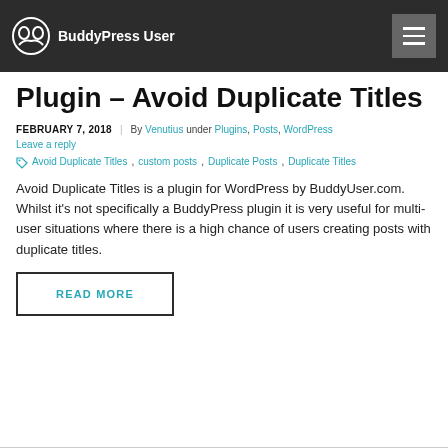BuddyPress User
Plugin – Avoid Duplicate Titles
FEBRUARY 7, 2018 | By Venutius under Plugins, Posts, WordPress
Leave a reply
Avoid Duplicate Titles, custom posts, Duplicate Posts, Duplicate Titles
Avoid Duplicate Titles is a plugin for WordPress by BuddyUser.com. Whilst it's not specifically a BuddyPress plugin it is very useful for multi-user situations where there is a high chance of users creating posts with duplicate titles.
READ MORE